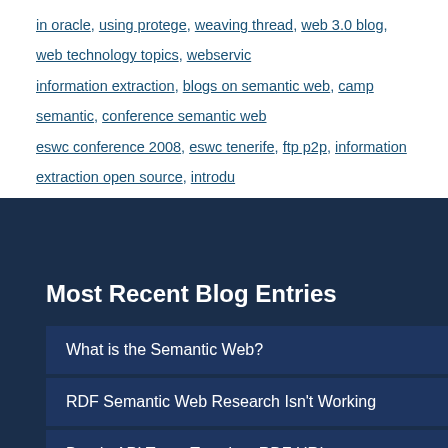in oracle, using protege, weaving thread, web 3.0 blog, web technology topics, webservice, information extraction, blogs on semantic web, camp semantic, conference semantic web, eswc conference 2008, eswc tenerife, ftp p2p, information extraction open source, introdu...
Most Recent Blog Entries
What is the Semantic Web?
RDF Semantic Web Research Isn't Working
Bueda API Turns Tags into RDF URIs
Semantic Data Storage in Oracle
Calling All RDF Dumps
Service Ontologies